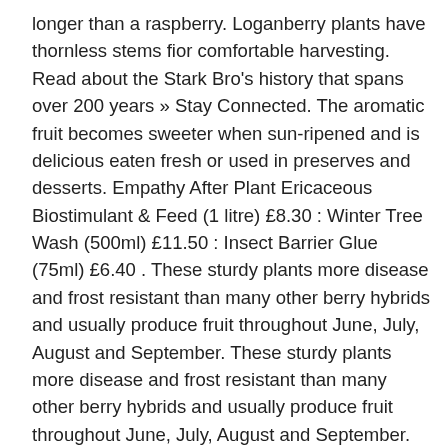longer than a raspberry. Loganberry plants have thornless stems fior comfortable harvesting. Read about the Stark Bro's history that spans over 200 years » Stay Connected. The aromatic fruit becomes sweeter when sun-ripened and is delicious eaten fresh or used in preserves and desserts. Empathy After Plant Ericaceous Biostimulant & Feed (1 litre) £8.30 : Winter Tree Wash (500ml) £11.50 : Insect Barrier Glue (75ml) £6.40 . These sturdy plants more disease and frost resistant than many other berry hybrids and usually produce fruit throughout June, July, August and September. These sturdy plants more disease and frost resistant than many other berry hybrids and usually produce fruit throughout June, July, August and September. Size: Ships: Price: 2 year old 11/15/2020 - 04/01/2021: Sold Out. Pure delight, the fruit lacks the astringent properties of its parents. For best flavour … Shipping dates are subject to change. Good for freezing. Discovered by American horticulturalist Judge James Logan in 1881 after an accidental cross of a blackberry and